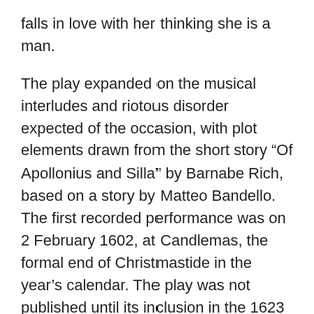falls in love with her thinking she is a man.
The play expanded on the musical interludes and riotous disorder expected of the occasion, with plot elements drawn from the short story “Of Apollonius and Silla” by Barnabe Rich, based on a story by Matteo Bandello. The first recorded performance was on 2 February 1602, at Candlemas, the formal end of Christmastide in the year’s calendar. The play was not published until its inclusion in the 1623 First Folio.
Get this William Shakespeare classic, formatted in screenplay style, ready for use with Rehearsal.